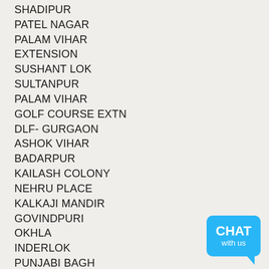SHADIPUR
PATEL NAGAR
PALAM VIHAR EXTENSION
SUSHANT LOK
SULTANPUR
PALAM VIHAR
GOLF COURSE EXTN
DLF- GURGAON
ASHOK VIHAR
BADARPUR
KAILASH COLONY
NEHRU PLACE
KALKAJI MANDIR
GOVINDPURI
OKHLA
INDERLOK
PUNJABI BAGH
SUSHANT LOK
ANAND VIHAR
PREET VIHAR
TUGHLAKABAD
ROSHAN PURA
[Figure (logo): Blue chat bubble badge with 'CHAT with us' text]